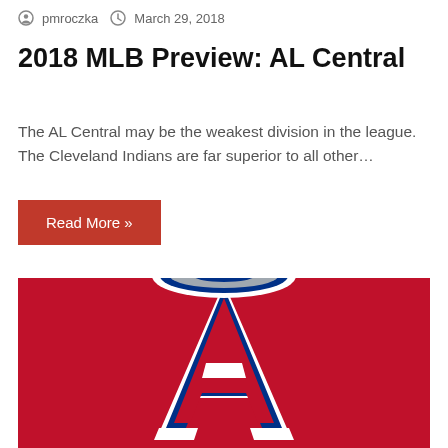pmroczka   March 29, 2018
2018 MLB Preview: AL Central
The AL Central may be the weakest division in the league. The Cleveland Indians are far superior to all other…
Read More »
[Figure (illustration): Los Angeles Angels baseball team logo — a large stylized letter A with a halo, in navy blue and red on a crimson red background]